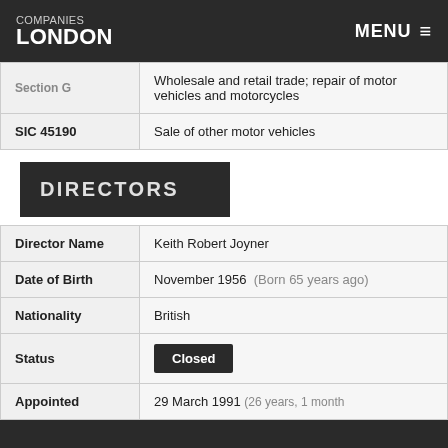COMPANIES LONDON   MENU
| Section G | Wholesale and retail trade; repair of motor vehicles and motorcycles |
| --- | --- |
| SIC 45190 | Sale of other motor vehicles |
DIRECTORS
| Director Name | Keith Robert Joyner |
| --- | --- |
| Date of Birth | November 1956  (Born 65 years ago) |
| Nationality | British |
| Status | Closed |
| Appointed | 29 March 1991  (26 years, 1 month |